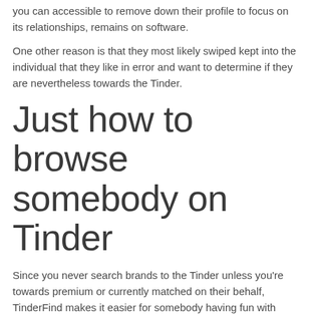you can accessible to remove down their profile to focus on its relationships, remains on software.
One other reason is that they most likely swiped kept into the individual that they like in error and want to determine if they are nevertheless towards the Tinder.
Just how to browse somebody on Tinder
Since you never search brands to the Tinder unless you're towards premium or currently matched on their behalf, TinderFind makes it easier for somebody having fun with typical Tinder. To join up on the internet site, the latest